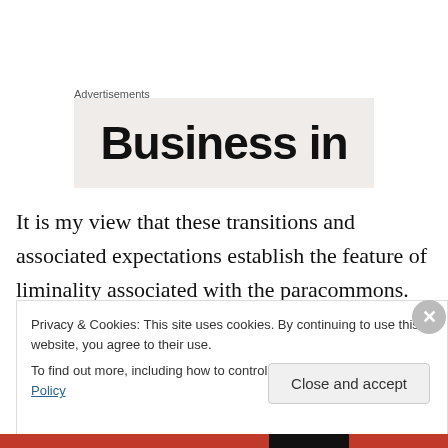Advertisements
[Figure (other): Advertisement banner showing partial text 'Business in' on a light beige/gray background]
It is my view that these transitions and associated expectations establish the feature of liminality associated with the paracommons. With the household apple, one observes a physical transition of the apple from one location to another, but critically it is the uncertain futures
Privacy & Cookies: This site uses cookies. By continuing to use this website, you agree to their use.
To find out more, including how to control cookies, see here: Cookie Policy
Close and accept